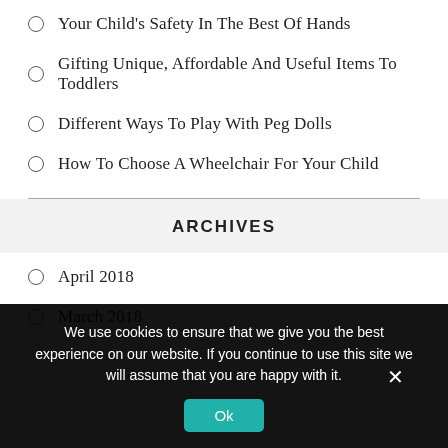Your Child's Safety In The Best Of Hands
Gifting Unique, Affordable And Useful Items To Toddlers
Different Ways To Play With Peg Dolls
How To Choose A Wheelchair For Your Child
ARCHIVES
April 2018
March 2018
We use cookies to ensure that we give you the best experience on our website. If you continue to use this site we will assume that you are happy with it.